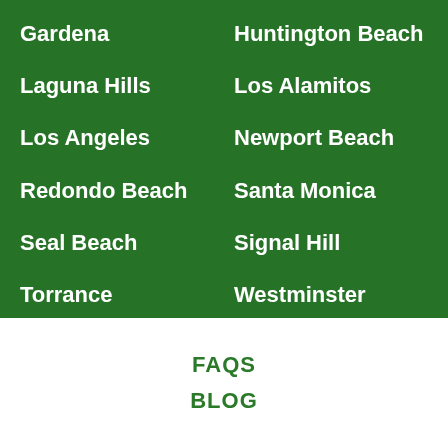Gardena
Huntington Beach
Laguna Hills
Los Alamitos
Los Angeles
Newport Beach
Redondo Beach
Santa Monica
Seal Beach
Signal Hill
Torrance
Westminster
FAQS
BLOG